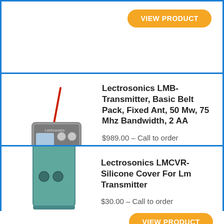[Figure (other): Top partial product card with orange VIEW PRODUCT button visible at top]
VIEW PRODUCT
[Figure (photo): Lectrosonics LMB belt pack transmitter with red antenna, metallic grey body with buttons and display]
Lectrosonics LMB-Transmitter, Basic Belt Pack, Fixed Ant, 50 Mw, 75 Mhz Bandwidth, 2 AA
$989.00 – Call to order
VIEW PRODUCT
[Figure (photo): Lectrosonics LMCVR silicone cover for LM transmitter, teal/green body with black antenna]
Lectrosonics LMCVR-Silicone Cover For Lm Transmitter
$30.00 – Call to order